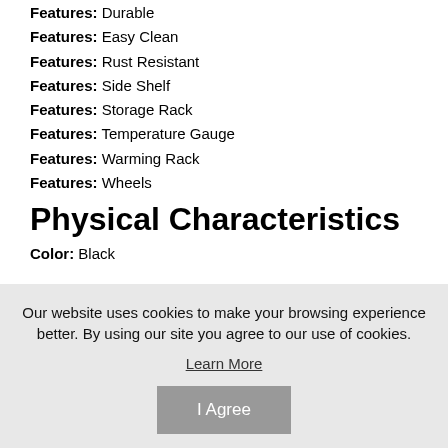Features: Durable
Features: Easy Clean
Features: Rust Resistant
Features: Side Shelf
Features: Storage Rack
Features: Temperature Gauge
Features: Warming Rack
Features: Wheels
Physical Characteristics
Color: Black
Our website uses cookies to make your browsing experience better. By using our site you agree to our use of cookies. Learn More I Agree